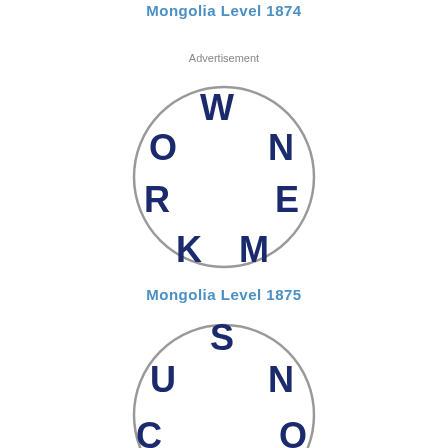Mongolia Level 1874
Advertisement
[Figure (illustration): Circle puzzle with letters O, W, N, R, E, K, M arranged around the inside of a circle for Mongolia Level 1875 word game]
Mongolia Level 1875
[Figure (illustration): Circle puzzle with letters U, S, N, C, O, T, I arranged around the inside of a circle for next level]